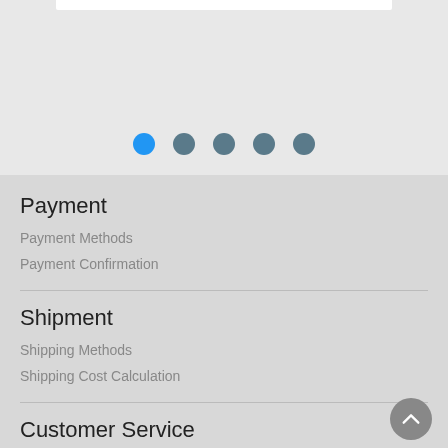[Figure (screenshot): White content bar at top with pagination dots below showing 5 dots, first (leftmost) dot is blue/active, rest are grey/inactive]
Payment
Payment Methods
Payment Confirmation
Shipment
Shipping Methods
Shipping Cost Calculation
Customer Service